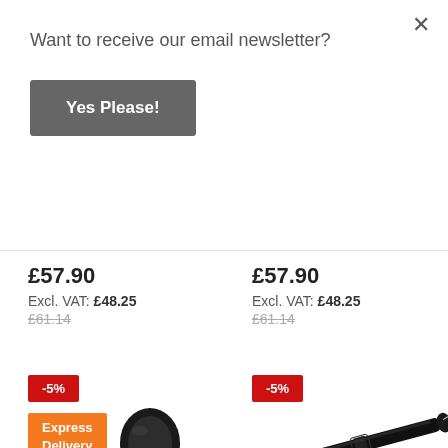Want to receive our email newsletter?
Yes Please!
×
£57.90
Excl. VAT: £48.25
£61.14
£57.90
Excl. VAT: £48.25
£61.14
[Figure (photo): Black rubber end cap / plug product]
[Figure (photo): Black metal rod/bar product with end caps]
-5%
Express Delivery
-5%